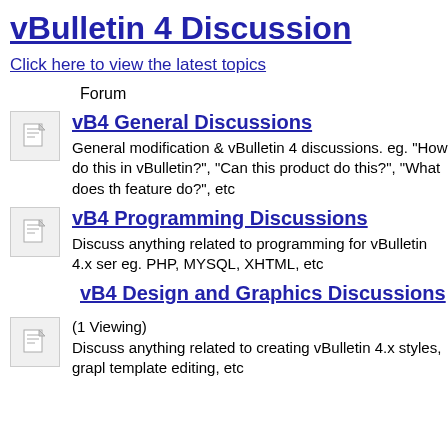vBulletin 4 Discussion
Click here to view the latest topics
Forum
vB4 General Discussions
General modification & vBulletin 4 discussions. eg. "How do this in vBulletin?", "Can this product do this?", "What does th feature do?", etc
vB4 Programming Discussions
Discuss anything related to programming for vBulletin 4.x ser eg. PHP, MYSQL, XHTML, etc
vB4 Design and Graphics Discussions
(1 Viewing)
Discuss anything related to creating vBulletin 4.x styles, grapl template editing, etc